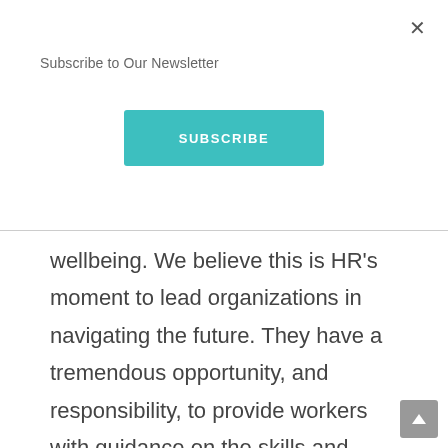Subscribe to Our Newsletter
SUBSCRIBE
wellbeing. We believe this is HR’s moment to lead organizations in navigating the future. They have a tremendous opportunity, and responsibility, to provide workers with guidance on the skills and capabilities they will need to be successful over the next decade as new roles continue to emerge.